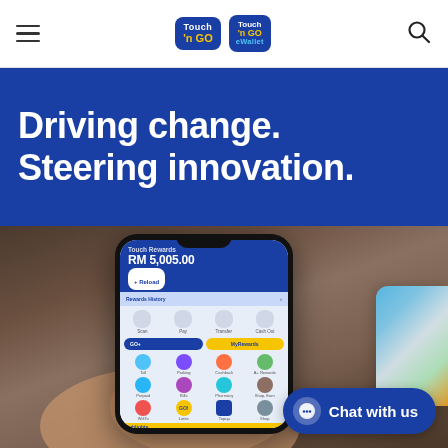Touch 'n GO | Touch 'n GO eWallet — navigation header with hamburger menu and search icon
Driving change. Steering innovation.
[Figure (photo): Person holding a smartphone displaying the Touch 'n GO eWallet app interface showing balance RM 5,005.00 with various service icons. A colourful card is partially visible on the right. A chat-with-us button overlay appears at bottom right.]